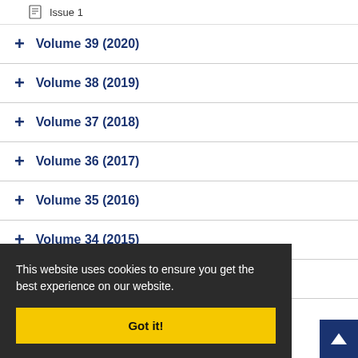Issue 1
Volume 39 (2020)
Volume 38 (2019)
Volume 37 (2018)
Volume 36 (2017)
Volume 35 (2016)
Volume 34 (2015)
Volume 33 (2014)
This website uses cookies to ensure you get the best experience on our website.
Got it!